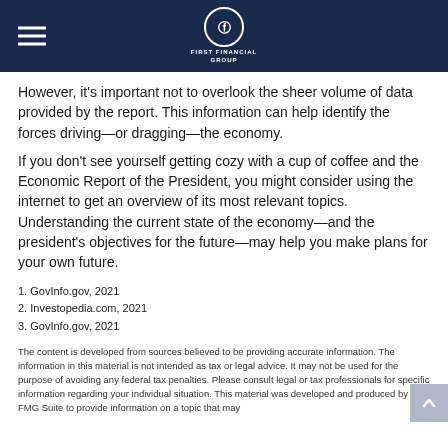First Financial Group
However, it’s important not to overlook the sheer volume of data provided by the report. This information can help identify the forces driving—or dragging—the economy.
If you don’t see yourself getting cozy with a cup of coffee and the Economic Report of the President, you might consider using the internet to get an overview of its most relevant topics. Understanding the current state of the economy—and the president’s objectives for the future—may help you make plans for your own future.
1. GovInfo.gov, 2021
2. Investopedia.com, 2021
3. GovInfo.gov, 2021
The content is developed from sources believed to be providing accurate information. The information in this material is not intended as tax or legal advice. It may not be used for the purpose of avoiding any federal tax penalties. Please consult legal or tax professionals for specific information regarding your individual situation. This material was developed and produced by FMG Suite to provide information on a topic that may